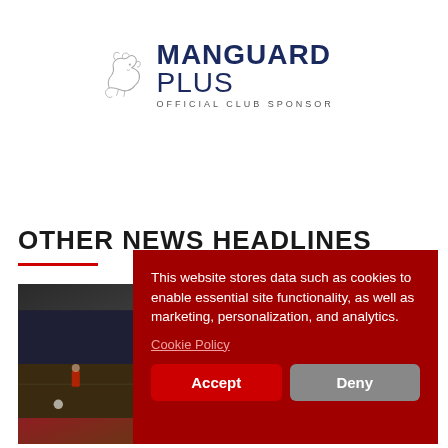[Figure (logo): Manguard Plus logo with lion head graphic and text 'MANGUARD PLUS OFFICIAL CLUB SPONSOR']
OTHER NEWS HEADLINES
[Figure (photo): Football match preview image showing players on pitch]
This website stores data such as cookies to enable essential site functionality, as well as marketing, personalization, and analytics.
Cookie Policy
Accept
Deny